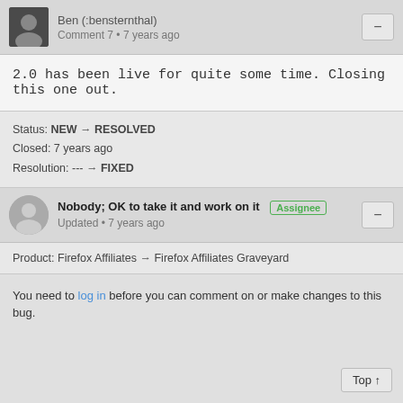Ben (:bensternthal) Comment 7 • 7 years ago
2.0 has been live for quite some time. Closing this one out.
Status: NEW → RESOLVED
Closed: 7 years ago
Resolution: --- → FIXED
Nobody; OK to take it and work on it [Assignee] Updated • 7 years ago
Product: Firefox Affiliates → Firefox Affiliates Graveyard
You need to log in before you can comment on or make changes to this bug.